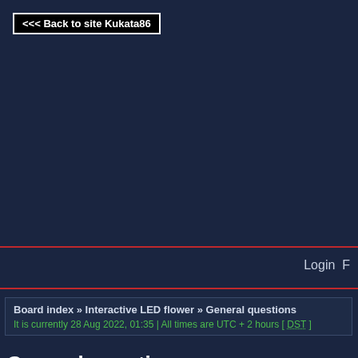<<< Back to site Kukata86
[Figure (other): Plugin error message box: Couldn't load plugin.]
Login
Board index » Interactive LED flower » General questions
It is currently 28 Aug 2022, 01:35 | All times are UTC + 2 hours [ DST ]
General questions
Page 1 of 1  [ 2 topics ]
| Topics |
| --- |
| LED lighting testing standards |